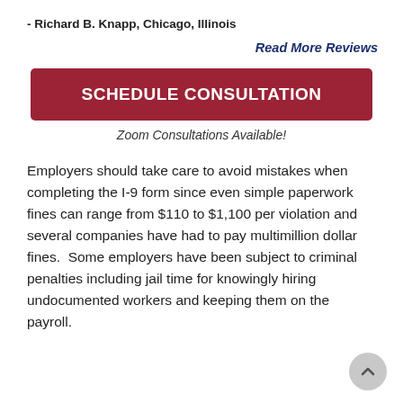- Richard B. Knapp, Chicago, Illinois
Read More Reviews
SCHEDULE CONSULTATION
Zoom Consultations Available!
Employers should take care to avoid mistakes when completing the I-9 form since even simple paperwork fines can range from $110 to $1,100 per violation and several companies have had to pay multimillion dollar fines.  Some employers have been subject to criminal penalties including jail time for knowingly hiring undocumented workers and keeping them on the payroll.